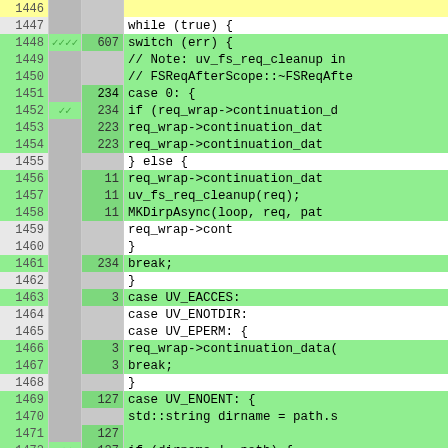[Figure (screenshot): Code coverage viewer showing source code lines 1446-1472 with line numbers, coverage marks (checkmarks), execution counts, and highlighted code. Green highlighted lines are covered, yellow/white lines are not covered or partially covered. Code shows a C++ function with a while loop, switch statement handling error cases UV_EACCES, UV_ENOTDIR, UV_EPERM, UV_ENOENT.]